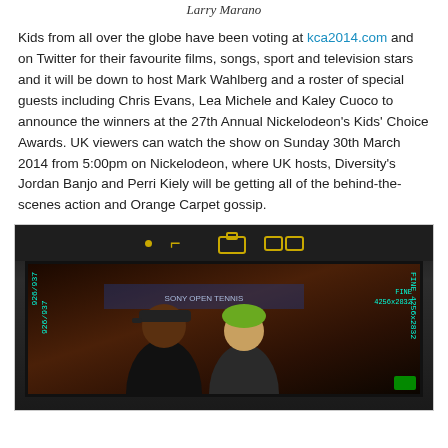Larry Marano
Kids from all over the globe have been voting at kca2014.com and on Twitter for their favourite films, songs, sport and television stars and it will be down to host Mark Wahlberg and a roster of special guests including Chris Evans, Lea Michele and Kaley Cuoco to announce the winners at the 27th Annual Nickelodeon's Kids' Choice Awards. UK viewers can watch the show on Sunday 30th March 2014 from 5:00pm on Nickelodeon, where UK hosts, Diversity's Jordan Banjo and Perri Kiely will be getting all of the behind-the-scenes action and Orange Carpet gossip.
[Figure (photo): A camera LCD screen showing two people posing together, with camera overlay text showing 926/937 and FINE 4256x2832]